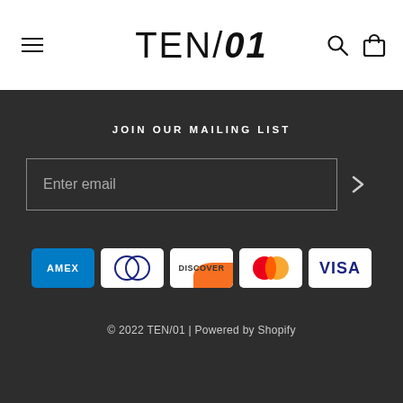TEN/01
JOIN OUR MAILING LIST
Enter email
[Figure (other): Payment method icons: American Express, Diners Club, Discover, Mastercard, Visa]
© 2022 TEN/01 | Powered by Shopify